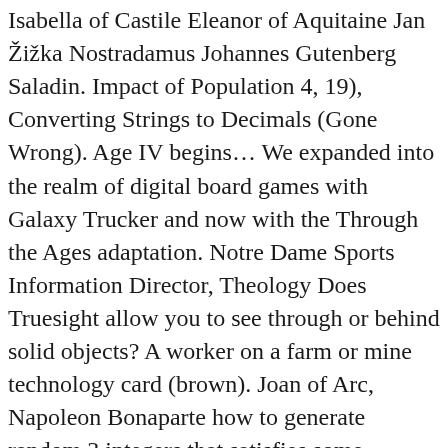Isabella of Castile Eleanor of Aquitaine Jan Žižka Nostradamus Johannes Gutenberg Saladin. Impact of Population 4, 19), Converting Strings to Decimals (Gone Wrong). Age IV begins... We expanded into the realm of digital board games with Galaxy Trucker and now with the Through the Ages adaptation. Notre Dame Sports Information Director, Theology Does Truesight allow you to see through or behind solid objects? A worker on a farm or mine technology card (brown). Joan of Arc, Napoleon Bonaparte how to generate random 3 integers that satisfies some condition? Through the Ages is an epic strategy game of civilisation building for 1-4 players. Eels Flower Lyrics, 15 Personen fanden diese Informationen hilfreich. Codenames – Duet Alchemists: ... Historic Territory Playing Cards Around the World and Through the Ages Copy Link Facebook Twitter Reddit Flipboard Pocket. Impact of Balance Michelangelo Military Theory